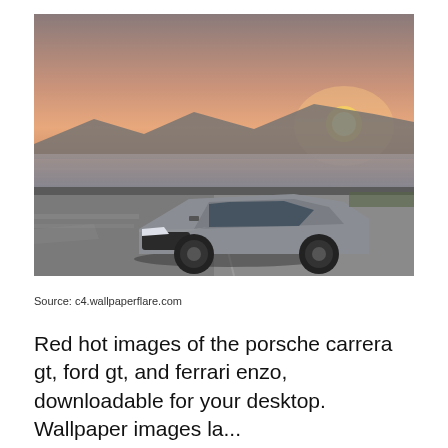[Figure (photo): A gray Mercedes-AMG GLC Coupe driving on a coastal road at sunset, with mountains and sea in the background and warm orange sky.]
Source: c4.wallpaperflare.com
Red hot images of the porsche carrera gt, ford gt, and ferrari enzo, downloadable for your desktop. Wallpaper images la...